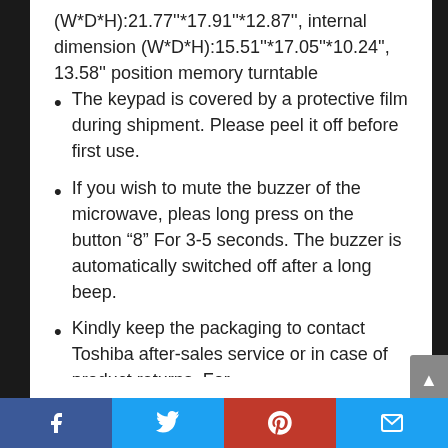(W*D*H):21.77''*17.91''*12.87'', internal dimension (W*D*H):15.51''*17.05''*10.24'', 13.58'' position memory turntable
The keypad is covered by a protective film during shipment. Please peel it off before first use.
If you wish to mute the buzzer of the microwave, pleas long press on the button “8” For 3-5 seconds. The buzzer is automatically switched off after a long beep.
Kindly keep the packaging to contact Toshiba after-sales service or in case of product returns. For